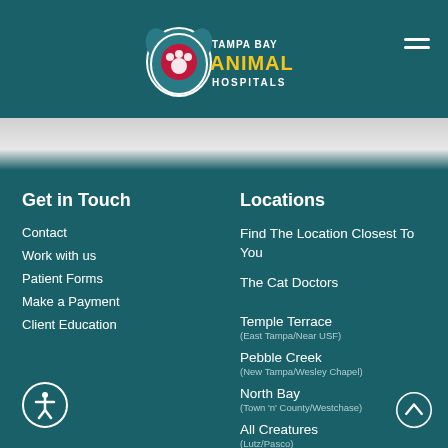[Figure (logo): Tampa Bay Animal Hospitals logo with dog and paw print, white and red on teal background]
Get in Touch
Contact
Work with us
Patient Forms
Make a Payment
Client Education
Locations
Find The Location Closest To You
The Cat Doctors
Temple Terrace (East Tampa/Near USF)
Pebble Creek (New Tampa/Wesley Chapel)
North Bay (Town 'n' County/Westchase)
All Creatures (Lutz/Pasco)
Cheval (Lutz/North Tampa)